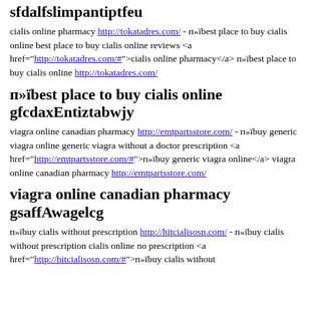sfdalfslimpantiptfeu
cialis online pharmacy http://tokatadres.com/ - п»їbest place to buy cialis online best place to buy cialis online reviews <a href="http://tokatadres.com/#">cialis online pharmacy</a> п»їbest place to buy cialis online http://tokatadres.com/
п»їbest place to buy cialis online gfcdaxEntiztabwjy
viagra online canadian pharmacy http://emtpartsstore.com/ - п»їbuy generic viagra online generic viagra without a doctor prescription <a href="http://emtpartsstore.com/#">п»їbuy generic viagra online</a> viagra online canadian pharmacy http://emtpartsstore.com/
viagra online canadian pharmacy gsaffAwagelcg
п»їbuy cialis without prescription http://hitcialisosn.com/ - п»їbuy cialis without prescription cialis online no prescription <a href="http://hitcialisosn.com/#">п»їbuy cialis without